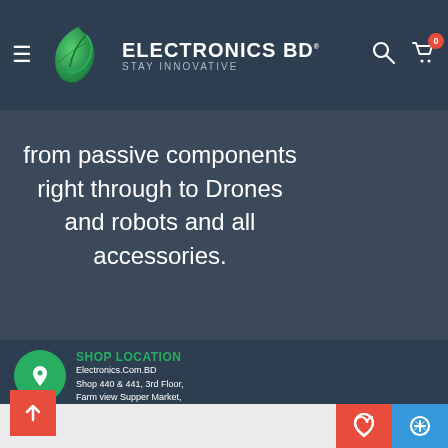[Figure (logo): Electronics BD logo with green leaf icon, text ELECTRONICS BD and tagline STAY INNOVATIVE on dark navy background with hamburger menu, search and cart icons]
from passive components right through to Drones and robots and all accessories.
SHOP LOCATION
Electronics.Com.BD
Shop 440 & 441, 3rd Floor,
Farm view Supper Market,
Farmget, Dhaka 1215
CALL US
Store: +8801641757175